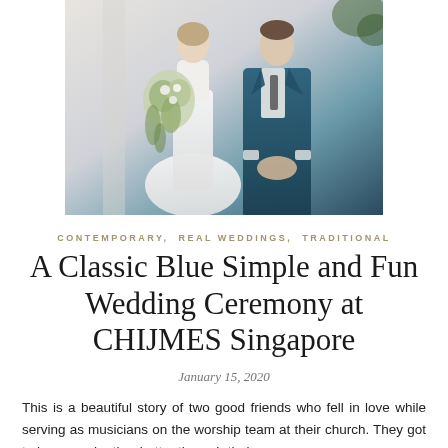[Figure (photo): Wedding photo of a bride in white dress holding a large greenery bouquet and a groom in a dark teal suit, standing together, cropped at torso level against a light background with columns]
CONTEMPORARY, REAL WEDDINGS, TRADITIONAL
A Classic Blue Simple and Fun Wedding Ceremony at CHIJMES Singapore
January 15, 2020
This is a beautiful story of two good friends who fell in love while serving as musicians on the worship team at their church. They got to know each other better through their…